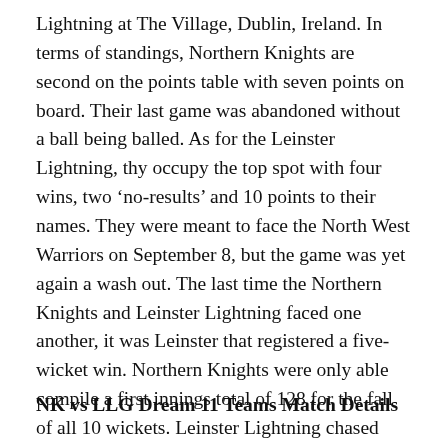Lightning at The Village, Dublin, Ireland. In terms of standings, Northern Knights are second on the points table with seven points on board. Their last game was abandoned without a ball being balled. As for the Leinster Lightning, thy occupy the top spot with four wins, two 'no-results' and 10 points to their names. They were meant to face the North West Warriors on September 8, but the game was yet again a wash out. The last time the Northern Knights and Leinster Lightning faced one another, it was Leinster that registered a five-wicket win. Northern Knights were only able compile a first innings total of 128 for the fall of all 10 wickets. Leinster Lightning chased down the target with five wickets and an over hand. Nevertheless, we can expect the Knights to give much more a fight this time around. With that being said, here is the NK vs LLG Dream 11 Prediction for the fixture ahead.
NK vs LLG Dream 11 Teams Match Details